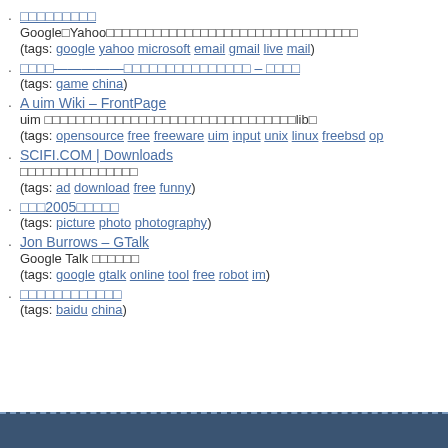□□□□□□□□□ Google□Yahoo□□□□□□□□□□□□□□□□□□□□□□□□□□□□□□□□ (tags: google yahoo microsoft email gmail live mail)
□□□□—————□□□□□□□□□□□□□□□□ – □□□□ (tags: game china)
A uim Wiki – FrontPage uim □□□□□□□□□□□□□□□□□□□□□□□□□□□□□□□□lib□ (tags: opensource free freeware uim input unix linux freebsd op)
SCIFI.COM | Downloads □□□□□□□□□□□□□□□ (tags: ad download free funny)
□□□2005□□□□□ (tags: picture photo photography)
Jon Burrows – GTalk Google Talk □□□□□□ (tags: google gtalk online tool free robot im)
□□□□□□□□□□□□ (tags: baidu china)